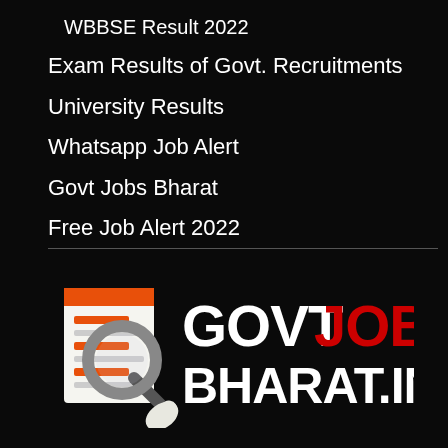WBBSE Result 2022
Exam Results of Govt. Recruitments
University Results
Whatsapp Job Alert
Govt Jobs Bharat
Free Job Alert 2022
[Figure (logo): GovtJobs Bharat.in logo with magnifying glass icon over a document, bold white text GOVT and red text JOBS on top line, white text BHARAT.IN on bottom line]